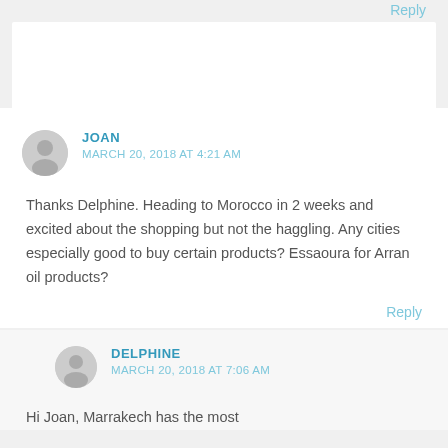Reply
JOAN
MARCH 20, 2018 AT 4:21 AM
Thanks Delphine. Heading to Morocco in 2 weeks and excited about the shopping but not the haggling. Any cities especially good to buy certain products? Essaoura for Arran oil products?
Reply
DELPHINE
MARCH 20, 2018 AT 7:06 AM
Hi Joan, Marrakech has the most